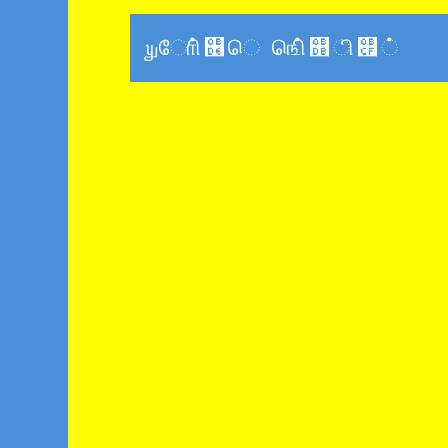தமிழக செய்திகள்
சென்னை செய்
தமிழகத்திலுள்ள தமிழகத்திலுள்ள தமிழக தமிழ தமிழக 5ம்
THE HIND
Delay in c Reporter
TIRUPUR here on W schools, c